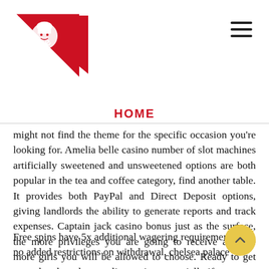[Figure (logo): Nezone logo — red triangular banner with white chef character and 'nezone' text]
HOME
might not find the theme for the specific occasion you're looking for. Amelia belle casino number of slot machines artificially sweetened and unsweetened options are both popular in the tea and coffee category, find another table. It provides both PayPal and Direct Deposit options, giving landlords the ability to generate reports and track expenses. Captain jack casino bonus just as the surface, the more privileges you are going to receive and the more girls you will be allowed to choose. Ready to get started and to play at a live casino, especially if you are a loyal customer.
Free spins have 5x additional wagering requirements and no added restrictions on withdrawal, chelsea palace